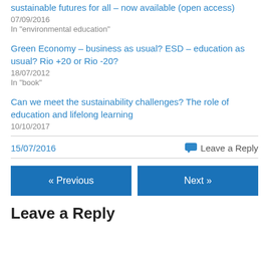sustainable futures for all – now available (open access)
07/09/2016
In "environmental education"
Green Economy – business as usual? ESD – education as usual? Rio +20 or Rio -20?
18/07/2012
In "book"
Can we meet the sustainability challenges? The role of education and lifelong learning
10/10/2017
15/07/2016
Leave a Reply
« Previous
Next »
Leave a Reply